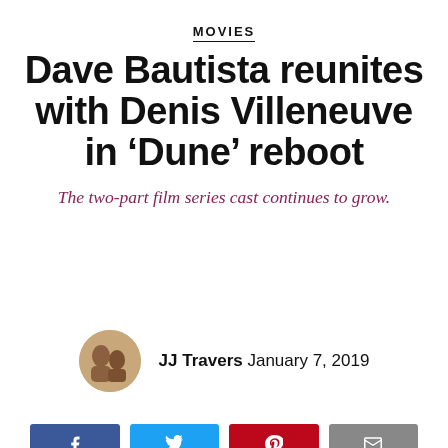MOVIES
Dave Bautista reunites with Denis Villeneuve in ‘Dune’ reboot
The two-part film series cast continues to grow.
JJ Travers January 7, 2019